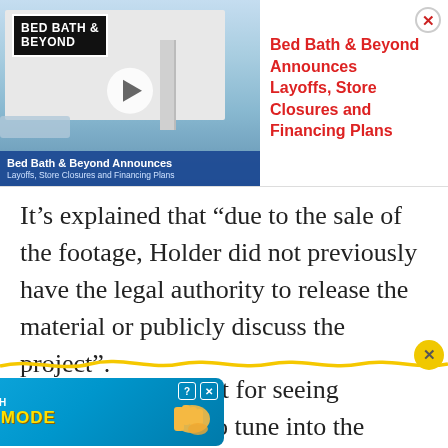[Figure (screenshot): Bed Bath & Beyond store video thumbnail with play button and caption overlay]
Bed Bath & Beyond Announces Layoffs, Store Closures and Financing Plans
It’s explained that “due to the sale of the footage, Holder did not previously have the legal authority to release the material or publicly discuss the project”.
So far, your best bet for seeing Unprecedented is to tune into the January 6
[Figure (screenshot): BitLife advertisement banner: NOW WITH GOD MODE]